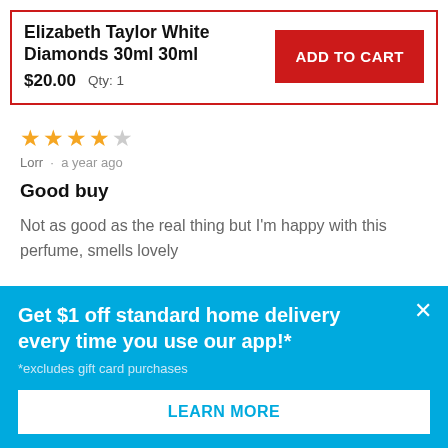Elizabeth Taylor White Diamonds 30ml 30ml
$20.00   Qty: 1
ADD TO CART
★★★★☆
Lorr · a year ago
Good buy
Not as good as the real thing but I'm happy with this perfume, smells lovely
Get $1 off standard home delivery every time you use our app!*
*excludes gift card purchases
LEARN MORE